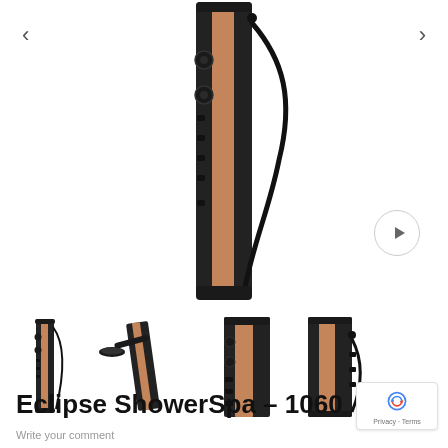[Figure (photo): Main product photo of Eclipse ShowerSpa 1060 shower panel - tall black panel with wood-grain copper accent stripe, multiple jet controls and handheld shower hose]
[Figure (photo): Thumbnail 1: Full-length view of shower panel showing complete unit with handheld shower]
[Figure (photo): Thumbnail 2: Angled view showing overhead rain shower head and panel body]
[Figure (photo): Thumbnail 3: Close-up of upper panel section with wood accent stripe]
[Figure (photo): Thumbnail 4: Side view of panel with controls and handheld hose]
Eclipse ShowerSpa – 1060
Write your comment